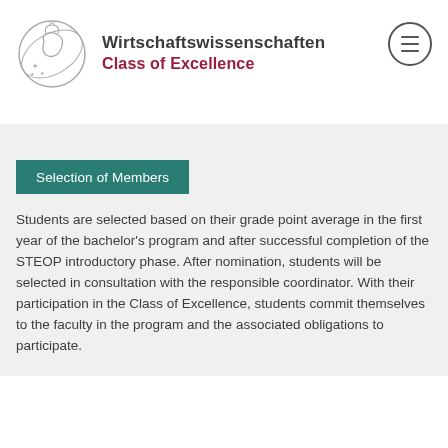[Figure (logo): Circular logo with stylized face and stars outline, grey tones]
Wirtschaftswissenschaften
Class of Excellence
[Figure (other): Hamburger menu icon button, circular border with three horizontal lines]
Selection of Members
Students are selected based on their grade point average in the first year of the bachelor's program and after successful completion of the STEOP introductory phase. After nomination, students will be selected in consultation with the responsible coordinator. With their participation in the Class of Excellence, students commit themselves to the faculty in the program and the associated obligations to participate.